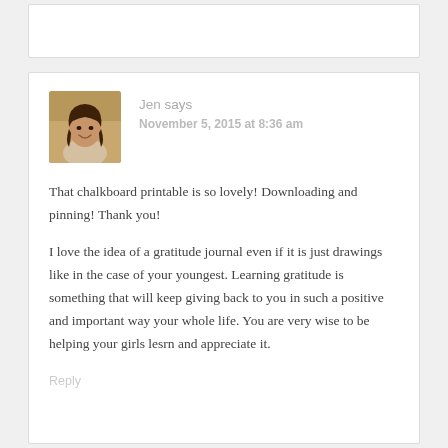[Figure (photo): Avatar photo of commenter Jen, a woman smiling outdoors]
Jen says
November 5, 2015 at 8:36 am
That chalkboard printable is so lovely! Downloading and pinning! Thank you!
I love the idea of a gratitude journal even if it is just drawings like in the case of your youngest. Learning gratitude is something that will keep giving back to you in such a positive and important way your whole life. You are very wise to be helping your girls lesrn and appreciate it.
Reply